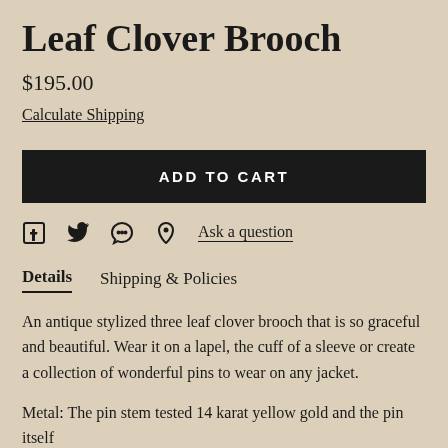Leaf Clover Brooch
$195.00
Calculate Shipping
ADD TO CART
Ask a question
Details   Shipping & Policies
An antique stylized three leaf clover brooch that is so graceful and beautiful. Wear it on a lapel, the cuff of a sleeve or create a collection of wonderful pins to wear on any jacket.
Metal: The pin stem tested 14 karat yellow gold and the pin itself